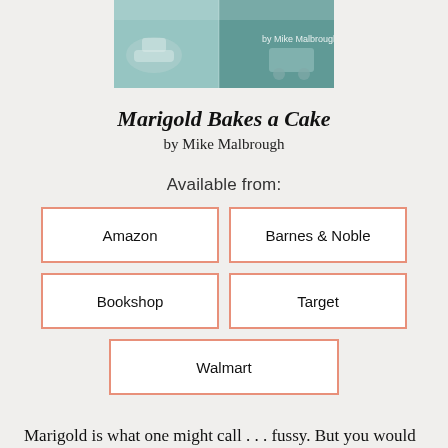[Figure (illustration): Book cover of 'Marigold Bakes a Cake' by Mike Malbrough, showing teal/green watercolor-style artwork with baking-related imagery and the author's name on the cover.]
Marigold Bakes a Cake
by Mike Malbrough
Available from:
Amazon
Barnes & Noble
Bookshop
Target
Walmart
Marigold is what one might call . . . fussy. But you would be, too, if Mondays were your day for baking cakes, and a bunch of birds were causing calamity in your kitchen. All is going fine and well until Marigold gets a pinch of finch — and then it's all